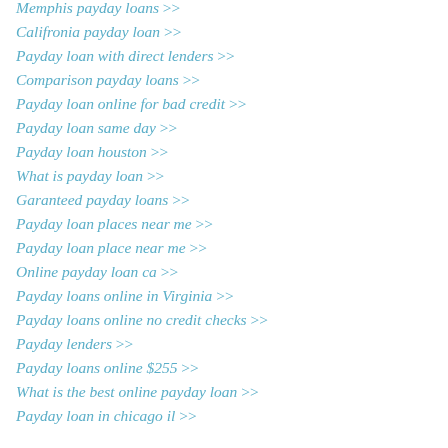Memphis payday loans >>
Califronia payday loan >>
Payday loan with direct lenders >>
Comparison payday loans >>
Payday loan online for bad credit >>
Payday loan same day >>
Payday loan houston >>
What is payday loan >>
Garanteed payday loans >>
Payday loan places near me >>
Payday loan place near me >>
Online payday loan ca >>
Payday loans online in Virginia >>
Payday loans online no credit checks >>
Payday lenders >>
Payday loans online $255 >>
What is the best online payday loan >>
Payday loan in chicago il >>